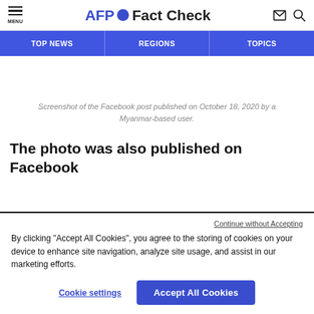AFP Fact Check — MENU | TOP NEWS | REGIONS | TOPICS
Screenshot of the Facebook post published on October 18, 2020 by a Myanmar-based user.
The photo was also published on Facebook
Continue without Accepting
By clicking “Accept All Cookies”, you agree to the storing of cookies on your device to enhance site navigation, analyze site usage, and assist in our marketing efforts.
Cookie settings | Accept All Cookies